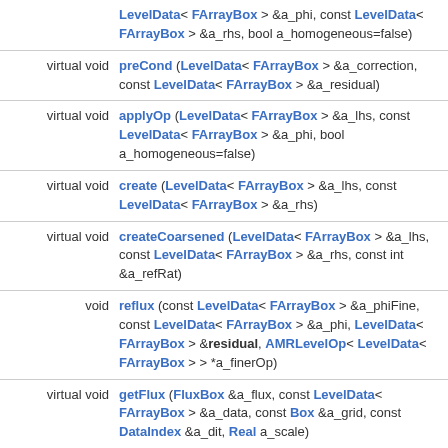| Type | Signature |
| --- | --- |
|  | LevelData< FArrayBox > &a_phi, const LevelData< FArrayBox > &a_rhs, bool a_homogeneous=false) |
| virtual void | preCond (LevelData< FArrayBox > &a_correction, const LevelData< FArrayBox > &a_residual) |
| virtual void | applyOp (LevelData< FArrayBox > &a_lhs, const LevelData< FArrayBox > &a_phi, bool a_homogeneous=false) |
| virtual void | create (LevelData< FArrayBox > &a_lhs, const LevelData< FArrayBox > &a_rhs) |
| virtual void | createCoarsened (LevelData< FArrayBox > &a_lhs, const LevelData< FArrayBox > &a_rhs, const int &a_refRat) |
| void | reflux (const LevelData< FArrayBox > &a_phiFine, const LevelData< FArrayBox > &a_phi, LevelData< FArrayBox > &residual, AMRLevelOp< LevelData< FArrayBox > > *a_finerOp) |
| virtual void | getFlux (FluxBox &a_flux, const LevelData< FArrayBox > &a_data, const Box &a_grid, const DataIndex &a_dit, Real a_scale) |
| void | applyOpNoBoundary (LevelData< FArrayBox > |